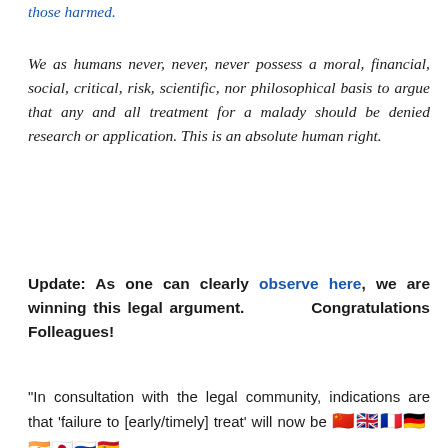those harmed.
We as humans never, never, never possess a moral, financial, social, critical, risk, scientific, nor philosophical basis to argue that any and all treatment for a malady should be denied research or application. This is an absolute human right.
Update: As one can clearly observe here, we are winning this legal argument. Congratulations Folleagues!
“In consultation with the legal community, indications are that ‘failure to [early/timely] treat’ will now be [flags] considered...